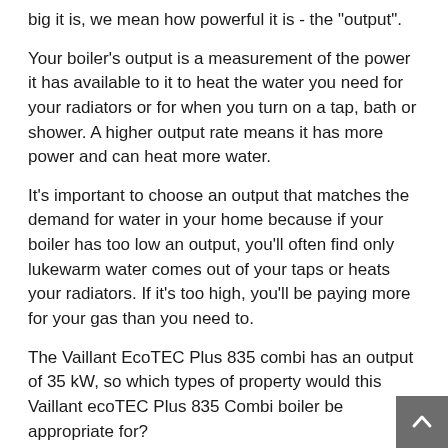big it is, we mean how powerful it is - the "output".
Your boiler's output is a measurement of the power it has available to it to heat the water you need for your radiators or for when you turn on a tap, bath or shower. A higher output rate means it has more power and can heat more water.
It's important to choose an output that matches the demand for water in your home because if your boiler has too low an output, you'll often find only lukewarm water comes out of your taps or heats your radiators. If it's too high, you'll be paying more for your gas than you need to.
The Vaillant EcoTEC Plus 835 combi has an output of 35 kW, so which types of property would this Vaillant ecoTEC Plus 835 Combi boiler be appropriate for?
An experienced Gas Safe boiler installer would recommend that this Vaillant ecoTEC Plus 835 Combi boiler would be a suitable installation choice for larger properties including detached homes with 15 or more radiators and two or more bathrooms.